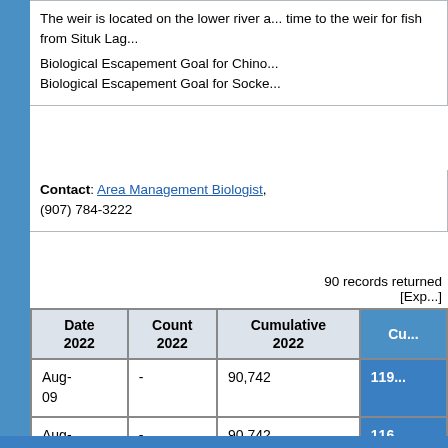The weir is located on the lower river a... time to the weir for fish from Situk Lag...
Biological Escapement Goal for Chino... Biological Escapement Goal for Socke...
Contact: Area Management Biologist, (907) 784-3222
90 records returned [Exp...]
| Date 2022 | Count 2022 | Cumulative 2022 | Cu... |
| --- | --- | --- | --- |
| Aug-09 | - | 90,742 | 119... |
| Aug-08 | - | 90,742 | 116... |
| Aug-... |  | 90,742 |  |